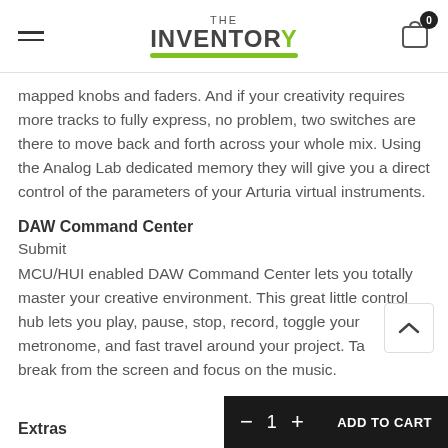THE INVENTORY
mapped knobs and faders. And if your creativity requires more tracks to fully express, no problem, two switches are there to move back and forth across your whole mix. Using the Analog Lab dedicated memory they will give you a direct control of the parameters of your Arturia virtual instruments.
DAW Command Center
Submit
MCU/HUI enabled DAW Command Center lets you totally master your creative environment. This great little control hub lets you play, pause, stop, record, toggle your metronome, and fast travel around your project. Take a break from the screen and focus on the music.
Extras